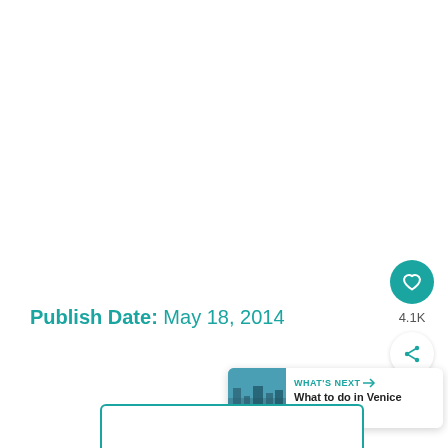Publish Date: May 18, 2014
[Figure (other): Teal circular like/heart button with count 4.1K and share button below]
[Figure (other): What's Next bar with Venice thumbnail and text 'What to do in Venice with...']
[Figure (other): Partial teal-bordered box at bottom of page]